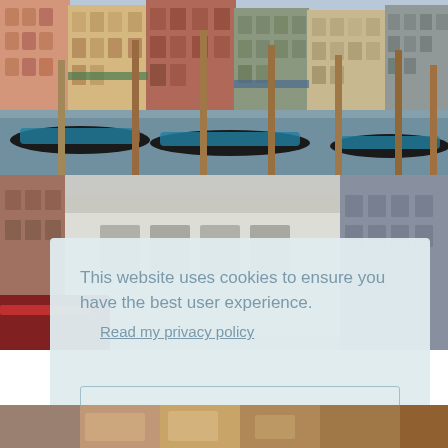[Figure (photo): Venice canal scene with colorful historic buildings along the waterfront, gondolas with blue tarps moored in the foreground, and wooden dock poles rising from the water.]
[Figure (photo): Street scene with a white building and partial view of a boat or vehicle, partially obscured by the cookie consent overlay.]
This website uses cookies to ensure you have the best user experience.
Read my privacy policy
Okay, I understand!
[Figure (photo): Partial bottom strip of a photo, appears to show warm-toned scene, possibly a market or outdoor setting.]